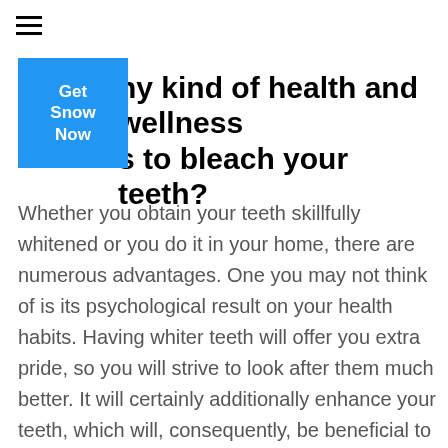[Figure (other): Hamburger menu icon (three horizontal lines) in top left corner]
[Figure (other): Blue square button with white bold text reading 'Get Snow Now']
ny kind of health and wellness …s to bleach your teeth?
Whether you obtain your teeth skillfully whitened or you do it in your home, there are numerous advantages. One you may not think of is its psychological result on your health habits. Having whiter teeth will offer you extra pride, so you will strive to look after them much better. It will certainly additionally enhance your teeth, which will, consequently, be beneficial to the wellness of your periodontals.